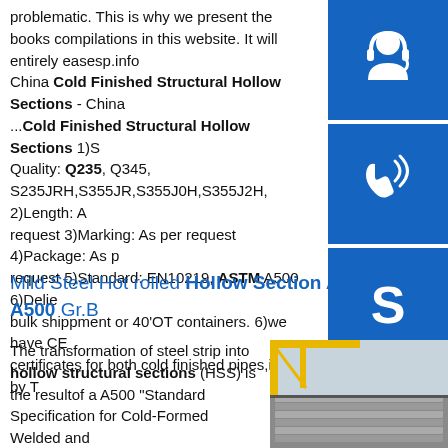problematic. This is why we present the books compilations in this website. It will entirely easesp.info China Cold Finished Structural Hollow Sections - China ...Cold Finished Structural Hollow Sections 1)Steel Quality: Q235, Q345, S235JRH,S355JR,S355J0H,S355J2H, 2)Length: As per request 3)Marking: As per request 4)Package: As per request 5)Standard: EN10219, ASTM A500 6)Delivery: bulk shippment or 40'OT containers. 6)we have CE certificates for both cold finished pipes,issued by T
[Figure (illustration): Blue button with white headset/customer service icon]
[Figure (illustration): Blue button with white phone/call icon]
[Figure (illustration): Blue button with white Skype icon]
Mild Steel Hot rolled Hollow Section ASTM A500 Gr.B
The transformation of steel strip into hollow structural sections (HSS) is the resultof a A500 "Standard Specification for Cold-Formed Welded and
[Figure (photo): Stacked steel plates/sheets at an industrial facility with yellow crane structure visible in background]